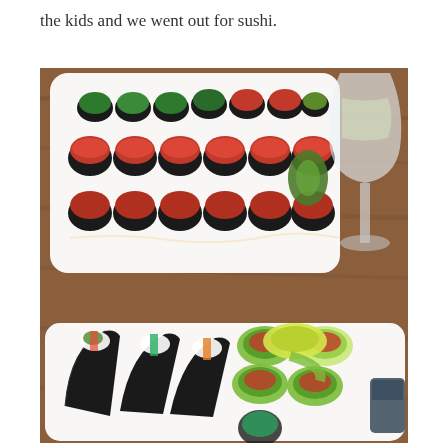the kids and we went out for sushi.
[Figure (photo): A restaurant table scene showing two plates of sushi and a glass of white wine. The top plate contains a variety of sushi rolls including maki rolls topped with tuna and sauce, and rolls with avocado. A wine glass is visible in the upper right. The bottom plate shows hand rolls/temaki and cucumber-wrapped rolls with tuna filling.]